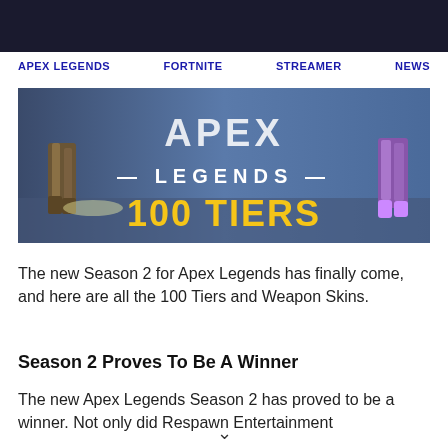APEX LEGENDS  FORTNITE  STREAMER  NEWS
[Figure (photo): Apex Legends Season 2 banner image showing characters with text '— LEGENDS —' and '100 TIERS' in gold lettering on a blue background]
The new Season 2 for Apex Legends has finally come, and here are all the 100 Tiers and Weapon Skins.
Season 2 Proves To Be A Winner
The new Apex Legends Season 2 has proved to be a winner. Not only did Respawn Entertainment